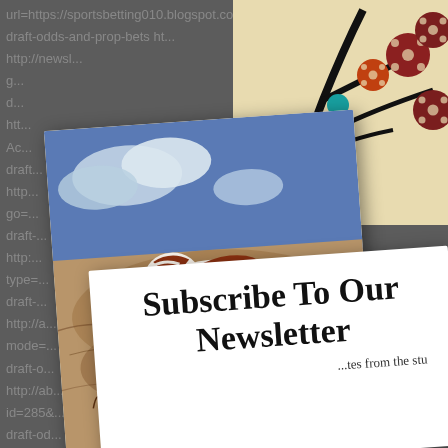url=https://sportsbetting010.blogspot.com/2022/0... draft-odds-and-prop-bets ht... http://newsl... g... d... htt... Ac... draft... http... go=... draft-... http:... type=... draft-... http://a... mode=... draft-o... http://ab... id=285&... draft-od...
[Figure (illustration): Abstract mixed media collage: top-right shows stylized tree branches with decorative polka-dot fruit/berries in dark red/orange and cream against a cream background, with black branches. Left portion shows a detailed ink and watercolor drawing of a small bird (wren) perched on a branch, with colorful red-brown and spotted feather markings, against a blue sky with clouds and brown/tan textured ground. The bird artwork appears as a slightly rotated card overlaying a colorful abstract background.]
Subscribe To Our Newsletter
...tes from the stu